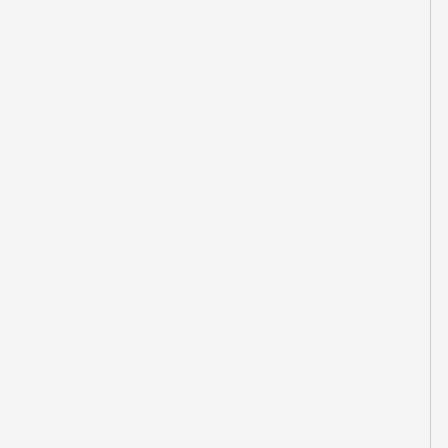December 2018, Israeli forces demolished a Palestinian-owned car repair shop in the northern West Bank village of al-Lubban al-Sharqiya, south